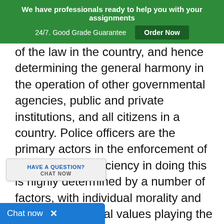We have professionals ready to help you with your assignments 24/7. Good Grade Guarantee | Order Now
of the law in the country, and hence determining the general harmony in the operation of other governmental agencies, public and private institutions, and all citizens in a country. Police officers are the primary actors in the enforcement of the law. Their efficiency in doing this is highly determined by a number of factors, with individual morality and institutional ethical values playing the main role in their behavior and conduct. Morals and ethics associate to considered to be wrong or
HAVE A QUESTION? CHAT NOW
Chat now  ×